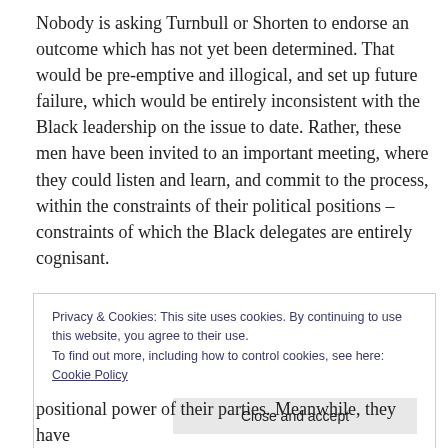Nobody is asking Turnbull or Shorten to endorse an outcome which has not yet been determined. That would be pre-emptive and illogical, and set up future failure, which would be entirely inconsistent with the Black leadership on the issue to date. Rather, these men have been invited to an important meeting, where they could listen and learn, and commit to the process, within the constraints of their political positions – constraints of which the Black delegates are entirely cognisant.
Privacy & Cookies: This site uses cookies. By continuing to use this website, you agree to their use. To find out more, including how to control cookies, see here: Cookie Policy
Close and accept
positional power of their parties. Meanwhile, they have